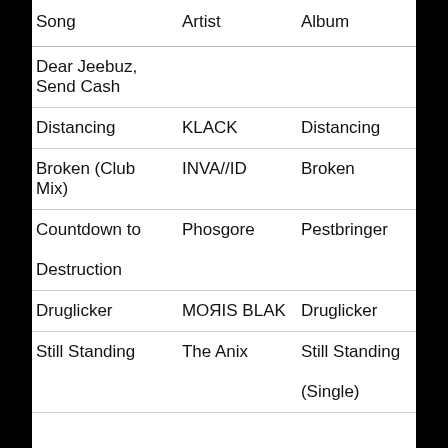| Song | Artist | Album |
| --- | --- | --- |
| Dear Jeebuz, Send Cash |  |  |
| Distancing | KLACK | Distancing |
| Broken (Club Mix) | INVA//ID | Broken |
| Countdown to Destruction | Phosgore | Pestbringer |
| Druglicker | MOЯIS BLAK | Druglicker |
| Still Standing | The Anix | Still Standing (Single) |